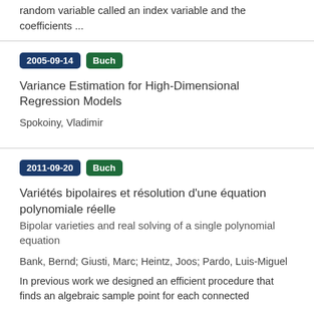random variable called an index variable and the coefficients ...
2005-09-14 Buch
Variance Estimation for High-Dimensional Regression Models
Spokoiny, Vladimir
2011-09-20 Buch
Variétés bipolaires et résolution d'une équation polynomiale réelle
Bipolar varieties and real solving of a single polynomial equation
Bank, Bernd; Giusti, Marc; Heintz, Joos; Pardo, Luis-Miguel
In previous work we designed an efficient procedure that finds an algebraic sample point for each connected